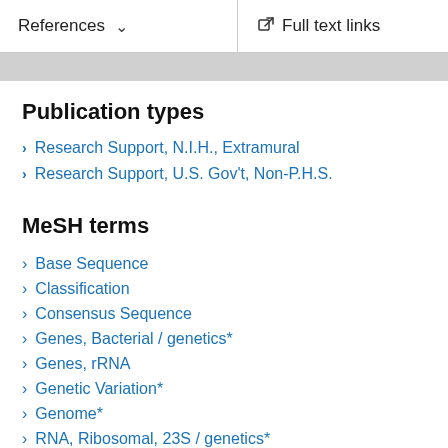References  ∨    Full text links
Publication types
Research Support, N.I.H., Extramural
Research Support, U.S. Gov't, Non-P.H.S.
MeSH terms
Base Sequence
Classification
Consensus Sequence
Genes, Bacterial / genetics*
Genes, rRNA
Genetic Variation*
Genome*
RNA, Ribosomal, 23S / genetics*